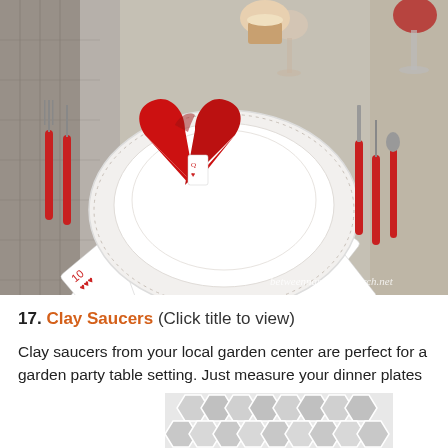[Figure (photo): Table setting with a red napkin folded into a heart shape placed on stacked white plates, surrounded by playing cards fanned out as a tablecloth, red-handled cutlery, and crystal glasses. Watermark reads: betweennapsontheporch.net]
17. Clay Saucers (Click title to view)
Clay saucers from your local garden center are perfect for a garden party table setting. Just measure your dinner plates first so you'll know what size saucer to purchase.
[Figure (photo): Partial view of a geometric hexagonal/cube pattern table setting in grey and white tones, partially cut off at bottom of page.]